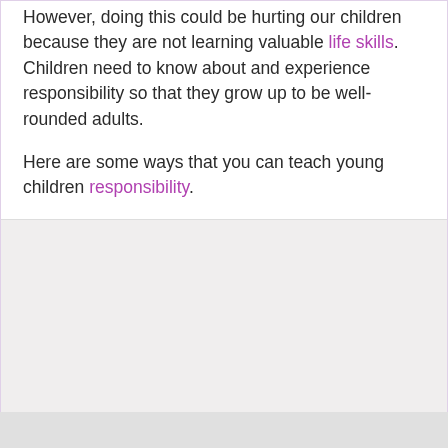However, doing this could be hurting our children because they are not learning valuable life skills. Children need to know about and experience responsibility so that they grow up to be well-rounded adults.
Here are some ways that you can teach young children responsibility.
[Figure (other): Loading placeholder area with gray background and LOADING... text]